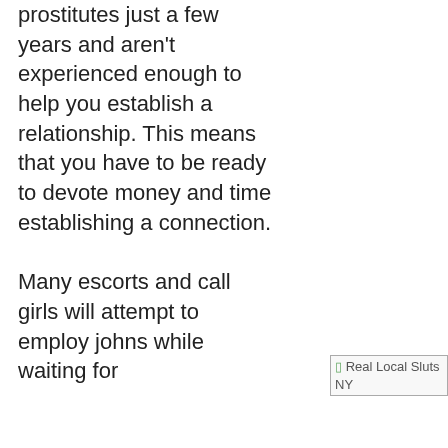prostitutes just a few years and aren't experienced enough to help you establish a relationship. This means that you have to be ready to devote money and time establishing a connection.

Many escorts and call girls will attempt to employ johns while waiting for
[Figure (other): Image placeholder labeled 'Real Local Sluts NY']